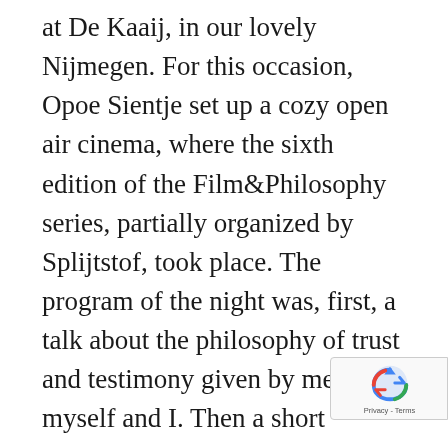at De Kaaij, in our lovely Nijmegen. For this occasion, Opoe Sientje set up a cozy open air cinema, where the sixth edition of the Film&Philosophy series, partially organized by Splijtstof, took place. The program of the night was, first, a talk about the philosophy of trust and testimony given by me, myself and I. Then a short introduction to the movie Gaslight (1944), in which we can admire Ingrid Bergman and Charles Boyera in all their acting splendeur. Finally, the stunning black and white movie itself would be displayed. If you missed the event, and are deeply sorry about this (as you should be), here you can find a summary of the talk, for which I took inspiration from my
[Figure (logo): Google reCAPTCHA badge with blue recycling-style arrow icon and Privacy/Terms text]